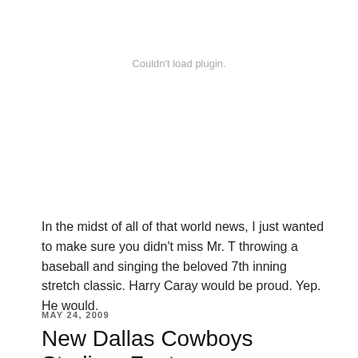Couldn't load plugin.
In the midst of all of that world news, I just wanted to make sure you didn't miss Mr. T throwing a baseball and singing the beloved 7th inning stretch classic. Harry Caray would be proud. Yep. He would.
MAY 24, 2009
New Dallas Cowboys Stadium Features